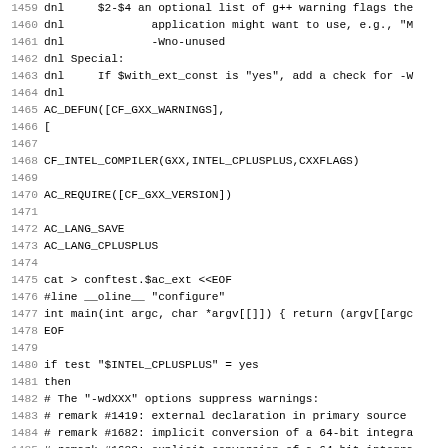Source code listing lines 1459-1491 showing autoconf/shell script for CF_GXX_WARNINGS macro, including dnl comments, AC_DEFUN, CF_INTEL_COMPILER, AC_REQUIRE, AC_LANG_SAVE, AC_LANG_CPLUSPLUS, conftest generation, and Intel compiler warning suppression remarks.